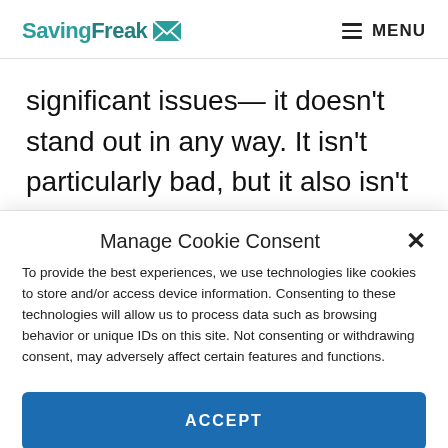SavingFreak MENU
significant issues— it doesn't stand out in any way. It isn't particularly bad, but it also isn't particularly useful either.
Manage Cookie Consent
To provide the best experiences, we use technologies like cookies to store and/or access device information. Consenting to these technologies will allow us to process data such as browsing behavior or unique IDs on this site. Not consenting or withdrawing consent, may adversely affect certain features and functions.
ACCEPT
Cookie Policy